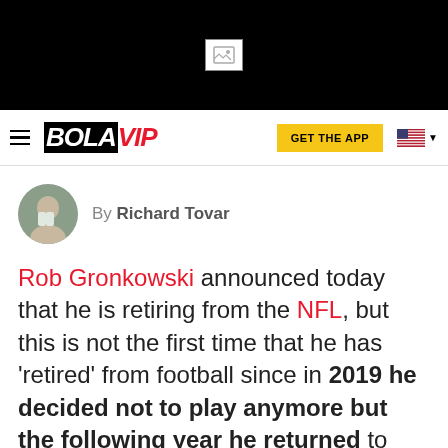[Figure (photo): Black header bar with broken image icon placeholder in center]
BOLAVIP — GET THE APP navigation bar with US flag
By Richard Tovar
Rob Gronkowski announced today that he is retiring from the NFL, but this is not the first time that he has 'retired' from football since in 2019 he decided not to play anymore but the following year he returned to play and win a Super Bowl with Tom Brady and the